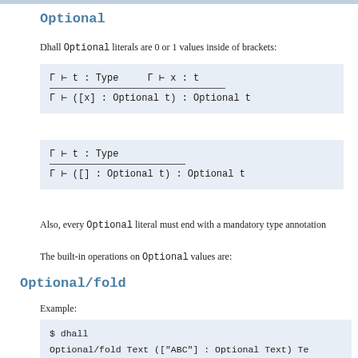Optional
Dhall Optional literals are 0 or 1 values inside of brackets:
Also, every Optional literal must end with a mandatory type annotation
The built-in operations on Optional values are:
Optional/fold
Example:
$ dhall
Optional/fold Text (["ABC"] : Optional Text) Te
<Ctrl-D>